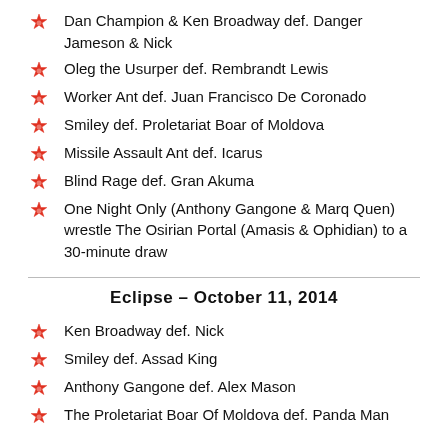Dan Champion & Ken Broadway def. Danger Jameson & Nick
Oleg the Usurper def. Rembrandt Lewis
Worker Ant def. Juan Francisco De Coronado
Smiley def. Proletariat Boar of Moldova
Missile Assault Ant def. Icarus
Blind Rage def. Gran Akuma
One Night Only (Anthony Gangone & Marq Quen) wrestle The Osirian Portal (Amasis & Ophidian) to a 30-minute draw
Eclipse – October 11, 2014
Ken Broadway def. Nick
Smiley def. Assad King
Anthony Gangone def. Alex Mason
The Proletariat Boar Of Moldova def. Panda Man